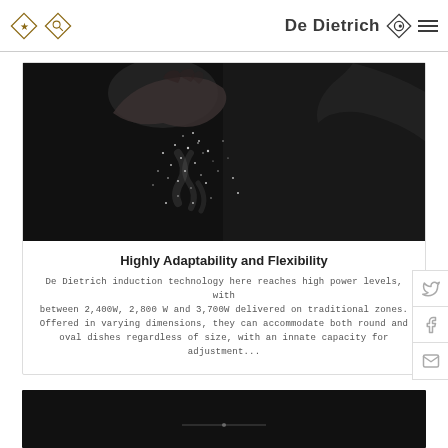De Dietrich
[Figure (photo): Dark background photo of a hand scattering salt or powder with smoke/steam rising, dramatic lighting against black background]
Highly Adaptability and Flexibility
De Dietrich induction technology here reaches high power levels, with between 2,400W, 2,800 W and 3,700W delivered on traditional zones. Offered in varying dimensions, they can accommodate both round and oval dishes regardless of size, with an innate capacity for adjustment...
[Figure (photo): Dark/black surface showing what appears to be an induction cooktop, partially visible at bottom of page]